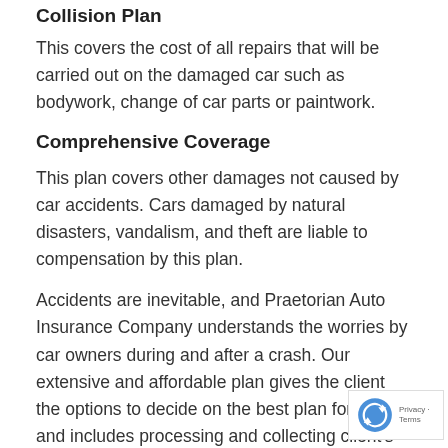Collision Plan
This covers the cost of all repairs that will be carried out on the damaged car such as bodywork, change of car parts or paintwork.
Comprehensive Coverage
This plan covers other damages not caused by car accidents. Cars damaged by natural disasters, vandalism, and theft are liable to compensation by this plan.
Accidents are inevitable, and Praetorian Auto Insurance Company understands the worries by car owners during and after a crash. Our extensive and affordable plan gives the client the options to decide on the best plan for them and includes processing and collecting client's claims without delay. Our testimonials and reviews tell of our